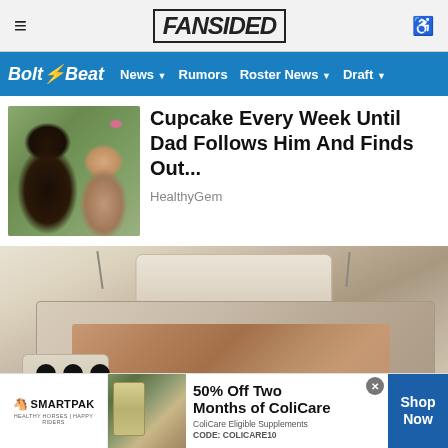FanSided
Bolt Beat | News | Rumors | Roster News | Draft
Cupcake Every Week Until Dad Follows Him And Finds Out...
HealthyGem
[Figure (photo): Photo of a man with sunglasses and a small child smiling outdoors]
[Figure (photo): Product photo of a luxury multi-feature bed with speakers, lap desk, storage, and a laptop]
[Figure (infographic): SmartPak advertisement banner: 50% Off Two Months of ColiCare, ColiCare Eligible Supplements, CODE: COLICARE10, Shop Now button]